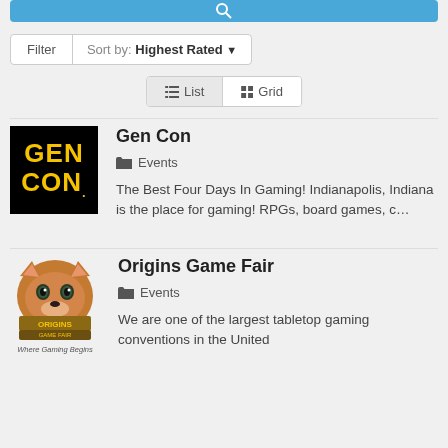[Figure (screenshot): Blue search bar with magnifying glass icon at top of page]
Filter   Sort by: Highest Rated ▼
≡ List   ⊞ Grid
Gen Con
Events
The Best Four Days In Gaming! Indianapolis, Indiana is the place for gaming! RPGs, board games, c…
Origins Game Fair
Events
We are one of the largest tabletop gaming conventions in the United